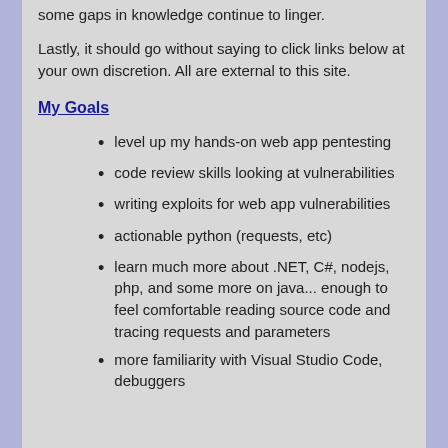some gaps in knowledge continue to linger.
Lastly, it should go without saying to click links below at your own discretion. All are external to this site.
My Goals
level up my hands-on web app pentesting
code review skills looking at vulnerabilities
writing exploits for web app vulnerabilities
actionable python (requests, etc)
learn much more about .NET, C#, nodejs, php, and some more on java... enough to feel comfortable reading source code and tracing requests and parameters
more familiarity with Visual Studio Code, debuggers